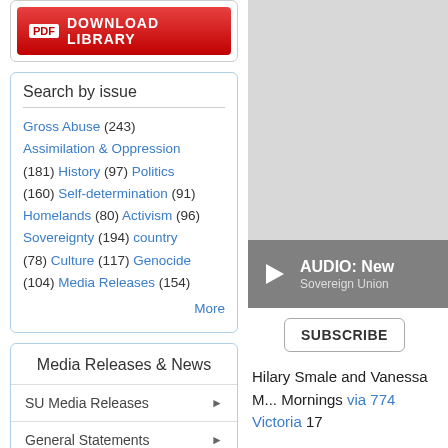[Figure (screenshot): PDF Download Library button with red background and white text]
Search by issue
Gross Abuse (243)
Assimilation & Oppression (181) History (97) Politics (160) Self-determination (91) Homelands (80) Activism (96) Sovereignty (194) country (78) Culture (117) Genocide (104) Media Releases (154)
More
Media Releases & News
SU Media Releases
General Statements
[Figure (screenshot): Gray area with audio player bar showing AUDIO: New and Sovereign Union text]
[Figure (screenshot): Subscribe button]
Hilary Smale and Vanessa M... Mornings via 774 Victoria 17
A fresh perspective of Indigen... evidence of village population... irrigation, is all explored Bruc... Dark Emu.
The common perception of m...